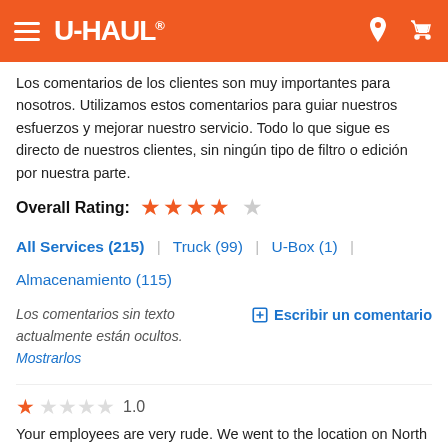U-HAUL
Los comentarios de los clientes son muy importantes para nosotros. Utilizamos estos comentarios para guiar nuestros esfuerzos y mejorar nuestro servicio. Todo lo que sigue es directo de nuestros clientes, sin ningún tipo de filtro o edición por nuestra parte.
Overall Rating: ★★★★☆
All Services (215) | Truck (99) | U-Box (1) | Almacenamiento (115)
Los comentarios sin texto actualmente están ocultos. Mostrarlos
✎ Escribir un comentario
★☆☆☆☆ 1.0
Your employees are very rude. We went to the location on North East as well as the location on jolly and cedar. Both employees were rude and argumentative. One employee argued with us about a